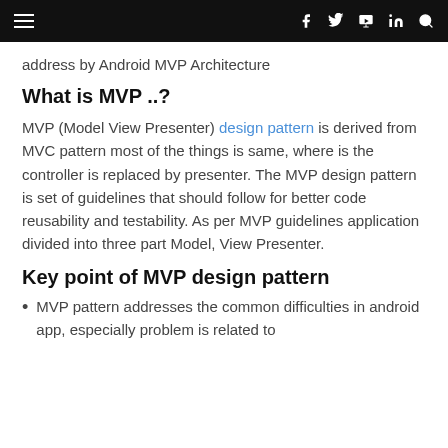address by Android MVP Architecture
What is MVP ..?
MVP (Model View Presenter) design pattern is derived from MVC pattern most of the things is same, where is the controller is replaced by presenter. The MVP design pattern is set of guidelines that should follow for better code reusability and testability. As per MVP guidelines application divided into three part Model, View Presenter.
Key point of MVP design pattern
MVP pattern addresses the common difficulties in android app, especially problem is related to